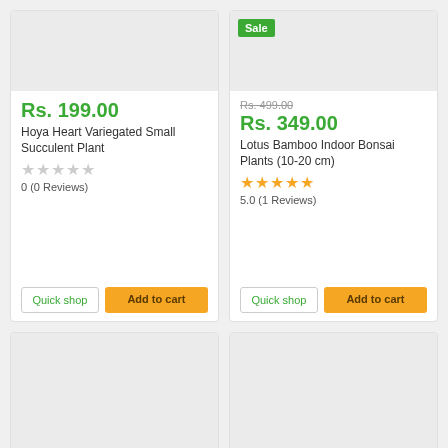[Figure (photo): Product image placeholder for Hoya Heart Variegated Small Succulent Plant]
Rs. 199.00
Hoya Heart Variegated Small Succulent Plant
0 (0 Reviews)
[Figure (photo): Product image placeholder for Lotus Bamboo Indoor Bonsai Plants with Sale badge]
Rs. 499.00 (strikethrough) Rs. 349.00
Lotus Bamboo Indoor Bonsai Plants (10-20 cm)
5.0 (1 Reviews)
[Figure (photo): Product image placeholder bottom left]
[Figure (photo): Product image placeholder bottom right]